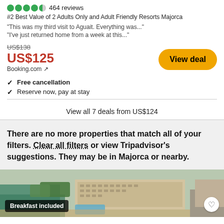464 reviews
#2 Best Value of 2 Adults Only and Adult Friendly Resorts Majorca
"This was my third visit to Aguait. Everything was..."
"I've just returned home from a week at this..."
US$138 (strikethrough) US$125 Booking.com ↗
View deal
✓ Free cancellation
✓ Reserve now, pay at stay
View all 7 deals from US$124
There are no more properties that match all of your filters. Clear all filters or view Tripadvisor's suggestions. They may be in Majorca or nearby.
[Figure (photo): Aerial view of a hotel resort near water in Majorca with buildings and pool area visible, with 'Breakfast included' badge]